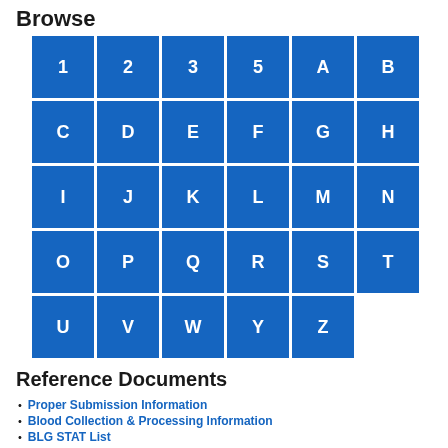Browse
[Figure (other): Grid of blue square buttons labeled with numbers (1, 2, 3, 5) and letters (A-Z excluding X) for alphabetical/numerical browsing navigation]
Reference Documents
Proper Submission Information
Blood Collection & Processing Information
BLG STAT List